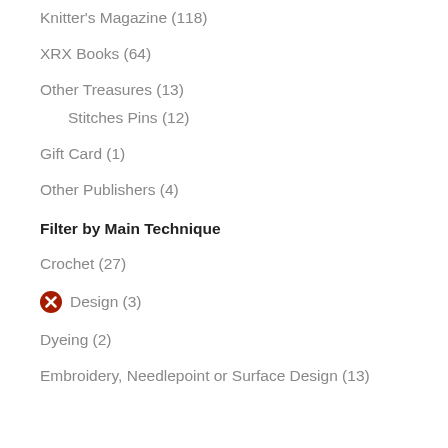Knitter's Magazine (118)
XRX Books (64)
Other Treasures (13)
Stitches Pins (12)
Gift Card (1)
Other Publishers (4)
Filter by Main Technique
Crochet (27)
Design (3)
Dyeing (2)
Embroidery, Needlepoint or Surface Design (13)